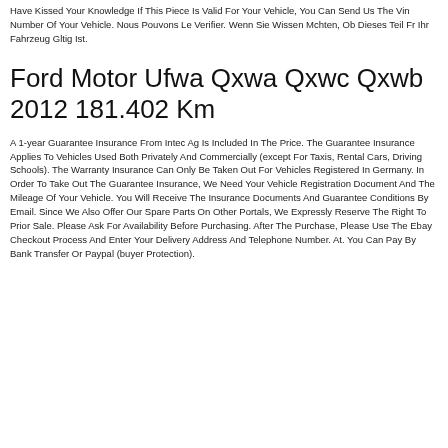Have Kissed Your Knowledge If This Piece Is Valid For Your Vehicle, You Can Send Us The Vin Number Of Your Vehicle. Nous Pouvons Le Verifier. Wenn Sie Wissen Mchten, Ob Dieses Teil Fr Ihr Fahrzeug Gltig Ist.
Ford Motor Ufwa Qxwa Qxwc Qxwb 2012 181.402 Km
A 1-year Guarantee Insurance From Intec Ag Is Included In The Price. The Guarantee Insurance Applies To Vehicles Used Both Privately And Commercially (except For Taxis, Rental Cars, Driving Schools). The Warranty Insurance Can Only Be Taken Out For Vehicles Registered In Germany. In Order To Take Out The Guarantee Insurance, We Need Your Vehicle Registration Document And The Mileage Of Your Vehicle. You Will Receive The Insurance Documents And Guarantee Conditions By Email. Since We Also Offer Our Spare Parts On Other Portals, We Expressly Reserve The Right To Prior Sale. Please Ask For Availability Before Purchasing. After The Purchase, Please Use The Ebay Checkout Process And Enter Your Delivery Address And Telephone Number. At. You Can Pay By Bank Transfer Or Paypal (buyer Protection).